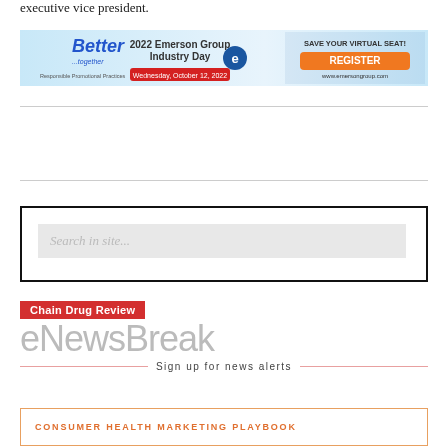executive vice president.
[Figure (infographic): 2022 Emerson Group Industry Day banner ad with 'Better Together' branding, date Wednesday October 12 2022, Save Your Virtual Seat / Register button, www.emersongroup.com]
[Figure (screenshot): Search box with placeholder text 'Search in site...']
[Figure (logo): Chain Drug Review eNewsBreak logo with 'Sign up for news alerts' tagline]
CONSUMER HEALTH MARKETING PLAYBOOK